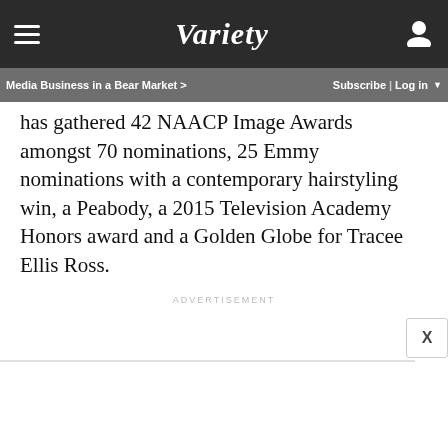Variety — Media Business in a Bear Market > | Subscribe | Log in
has gathered 42 NAACP Image Awards amongst 70 nominations, 25 Emmy nominations with a contemporary hairstyling win, a Peabody, a 2015 Television Academy Honors award and a Golden Globe for Tracee Ellis Ross.
ADVERTISEMENT